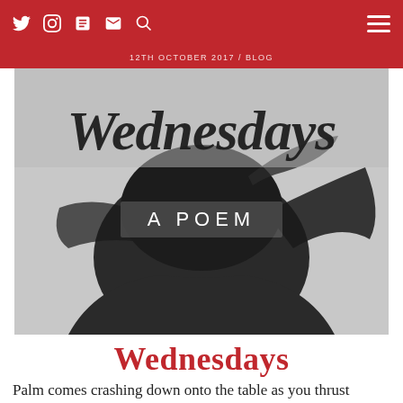12TH OCTOBER 2017 / BLOG
[Figure (photo): Black and white photo of a person seen from behind with head bowed and hair loose. Text overlay reads 'Wednesdays' in cursive script at top and 'A POEM' in spaced caps in the middle.]
Wednesdays
Palm comes crashing down onto the table as you thrust